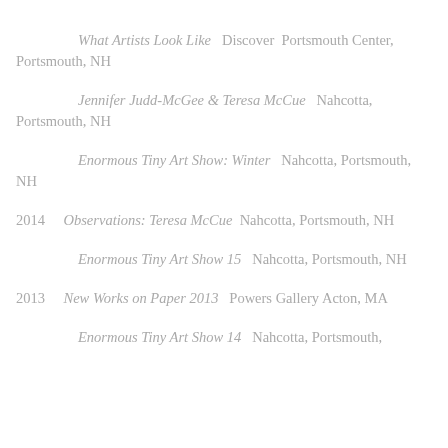What Artists Look Like   Discover  Portsmouth Center, Portsmouth, NH
Jennifer Judd-McGee & Teresa McCue   Nahcotta, Portsmouth, NH
Enormous Tiny Art Show: Winter   Nahcotta, Portsmouth, NH
2014   Observations: Teresa McCue  Nahcotta, Portsmouth, NH
Enormous Tiny Art Show 15   Nahcotta, Portsmouth, NH
2013   New Works on Paper 2013   Powers Gallery Acton, MA
Enormous Tiny Art Show 14   Nahcotta, Portsmouth,